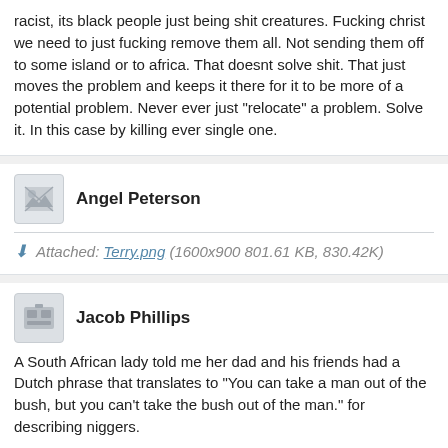racist, its black people just being shit creatures. Fucking christ we need to just fucking remove them all. Not sending them off to some island or to africa. That doesnt solve shit. That just moves the problem and keeps it there for it to be more of a potential problem. Never ever just "relocate" a problem. Solve it. In this case by killing ever single one.
Angel Peterson
Attached: Terry.png (1600x900 801.61 KB, 830.42K)
Jacob Phillips
A South African lady told me her dad and his friends had a Dutch phrase that translates to "You can take a man out of the bush, but you can't take the bush out of the man." for describing niggers.
Adam Brooks